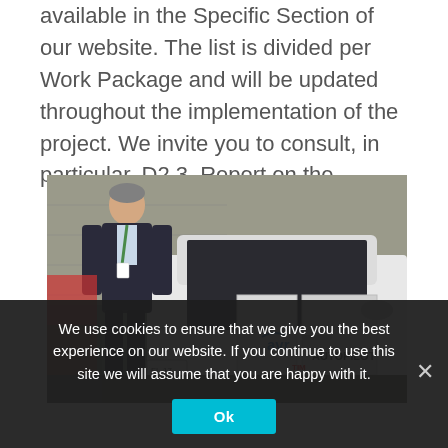available in the Specific Section of our website. The list is divided per Work Package and will be updated throughout the implementation of the project. We invite you to consult, in particular, D2.3, Report on the…
[Figure (photo): A man in a dark suit with a green lanyard badge standing beside a white autonomous vehicle branded with 'avr' and 'AUTOPILOT' logos, and a TIM logo. The car is a white SUV/crossover. The background shows a stone wall and other vehicles.]
We use cookies to ensure that we give you the best experience on our website. If you continue to use this site we will assume that you are happy with it.